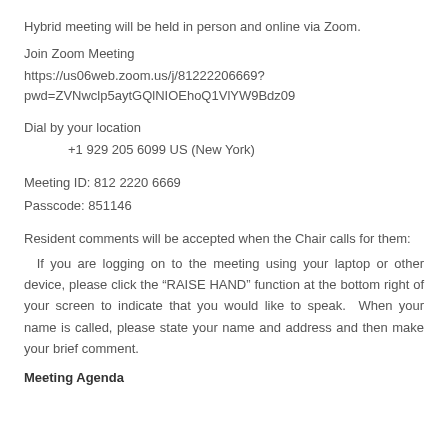Hybrid meeting will be held in person and online via Zoom.
Join Zoom Meeting
https://us06web.zoom.us/j/81222206669?
pwd=ZVNwclp5aytGQlNIOEhoQ1VlYW9Bdz09
Dial by your location
+1 929 205 6099 US (New York)
Meeting ID: 812 2220 6669
Passcode: 851146
Resident comments will be accepted when the Chair calls for them:
If you are logging on to the meeting using your laptop or other device, please click the “RAISE HAND” function at the bottom right of your screen to indicate that you would like to speak. When your name is called, please state your name and address and then make your brief comment.
Meeting Agenda